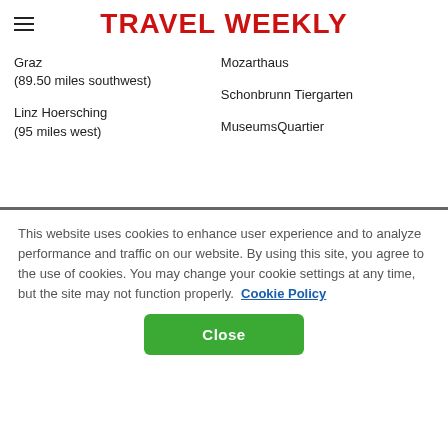TRAVEL WEEKLY
Graz
(89.50 miles southwest)
Mozarthaus
Linz Hoersching
(95 miles west)
Schonbrunn Tiergarten
MuseumsQuartier
This website uses cookies to enhance user experience and to analyze performance and traffic on our website. By using this site, you agree to the use of cookies. You may change your cookie settings at any time, but the site may not function properly.  Cookie Policy
Close